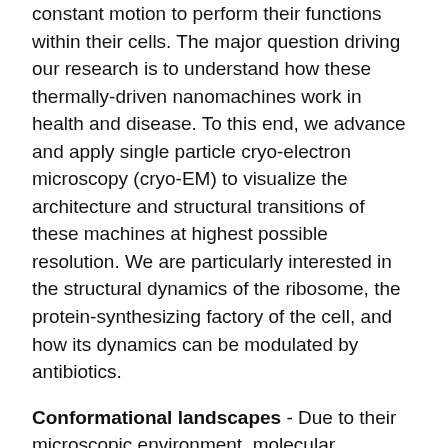constant motion to perform their functions within their cells. The major question driving our research is to understand how these thermally-driven nanomachines work in health and disease. To this end, we advance and apply single particle cryo-electron microscopy (cryo-EM) to visualize the architecture and structural transitions of these machines at highest possible resolution. We are particularly interested in the structural dynamics of the ribosome, the protein-synthesizing factory of the cell, and how its dynamics can be modulated by antibiotics.
Conformational landscapes - Due to their microscopic environment, molecular machines work based on drastically different principles than their macroscopic counterparts. In particular, they use minor external energy to bias random thermal fluctuations into directed, large-scale conformational changes. Thus, to understand how